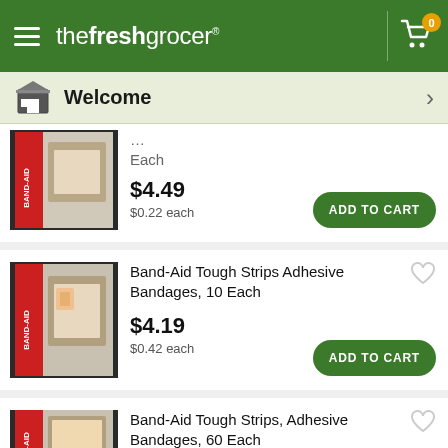thefreshgrocer
Welcome
[Figure (screenshot): Band-Aid product image (partial/cropped at top)]
Each
$4.49
$0.22 each
[Figure (screenshot): Band-Aid Tough Strips product box image]
Band-Aid Tough Strips Adhesive Bandages, 10 Each
$4.19
$0.42 each
[Figure (screenshot): Band-Aid Tough Strips 60 count product box image (partial)]
Band-Aid Tough Strips, Adhesive Bandages, 60 Each